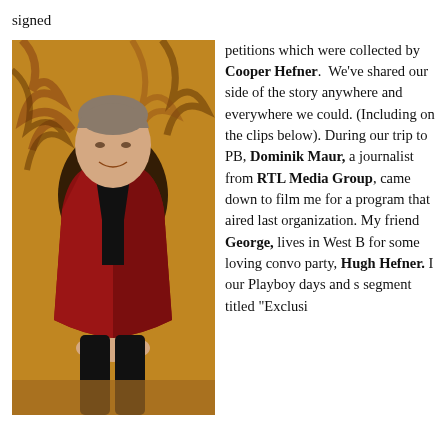signed
[Figure (photo): A man in a red velvet blazer with black lapels sitting in a chair with a tiger-print background, smiling at the camera.]
petitions which were collected by Cooper Hefner. We've shared our side of the story anywhere and everywhere we could. (Including on the clips below). During our trip to PB, Dominik Maur, a journalist from RTL Media Group, came down to film me for a program that aired last organization. My friend George, lives in West B for some loving convo party, Hugh Hefner. I our Playboy days and s segment titled "Exclusi